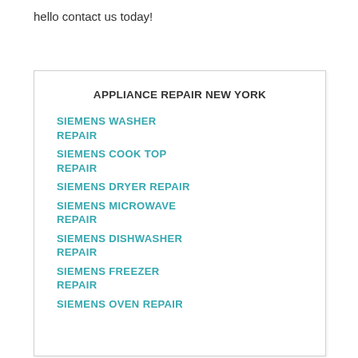hello contact us today!
APPLIANCE REPAIR NEW YORK
SIEMENS WASHER REPAIR
SIEMENS COOK TOP REPAIR
SIEMENS DRYER REPAIR
SIEMENS MICROWAVE REPAIR
SIEMENS DISHWASHER REPAIR
SIEMENS FREEZER REPAIR
SIEMENS OVEN REPAIR